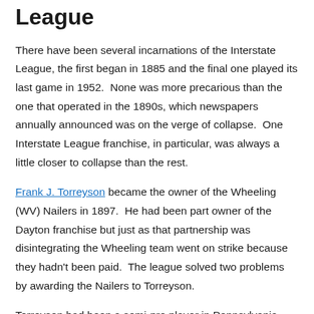League
There have been several incarnations of the Interstate League, the first began in 1885 and the final one played its last game in 1952.  None was more precarious than the one that operated in the 1890s, which newspapers annually announced was on the verge of collapse.  One Interstate League franchise, in particular, was always a little closer to collapse than the rest.
Frank J. Torreyson became the owner of the Wheeling (WV) Nailers in 1897.  He had been part owner of the Dayton franchise but just as that partnership was disintegrating the Wheeling team went on strike because they hadn't been paid.  The league solved two problems by awarding the Nailers to Torreyson.
Torreyson had been a semi-pro player in Pennsylvania